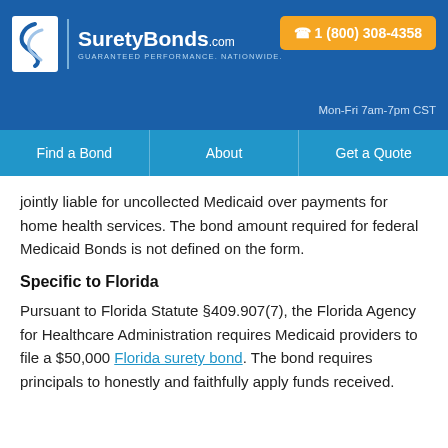SuretyBonds.com — GUARANTEED PERFORMANCE. NATIONWIDE. 1 (800) 308-4358. Mon-Fri 7am-7pm CST
Find a Bond | About | Get a Quote
jointly liable for uncollected Medicaid over payments for home health services. The bond amount required for federal Medicaid Bonds is not defined on the form.
Specific to Florida
Pursuant to Florida Statute §409.907(7), the Florida Agency for Healthcare Administration requires Medicaid providers to file a $50,000 Florida surety bond. The bond requires principals to honestly and faithfully apply funds received.